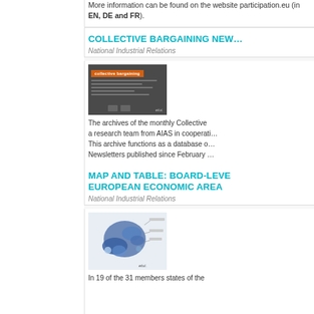More information can be found on the website participation.eu (in EN, DE and FR).
COLLECTIVE BARGAINING NEWSLETTERS
National Industrial Relations
[Figure (screenshot): Screenshot of the collective bargaining newsletter page with orange banner header and ETUI logo]
The archives of the monthly Collective Bargaining Newsletter, produced by a research team from AIAS in cooperation with ETUI, are now available. This archive functions as a database of all Collective Bargaining Newsletters published since February
MAP AND TABLE: BOARD-LEVEL REPRESENTATION IN THE EUROPEAN ECONOMIC AREA
National Industrial Relations
[Figure (map): Map of Europe showing board-level representation in the European Economic Area countries, with ETUI logo]
In 19 of the 31 members states of the